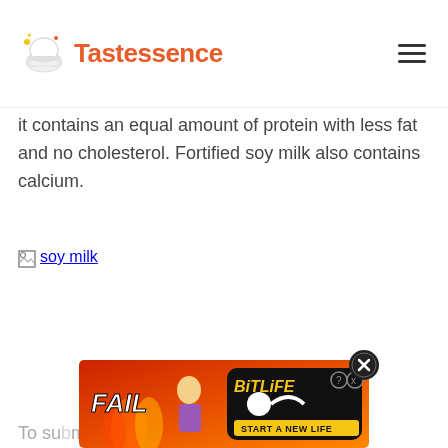Tastessence
it contains an equal amount of protein with less fat and no cholesterol. Fortified soy milk also contains calcium.
[Figure (photo): Broken image placeholder labeled 'soy milk']
To su mix a t.
[Figure (other): BitLife advertisement overlay with flame background, 'FAIL' text and 'START A NEW LIFE' banner, with close button]